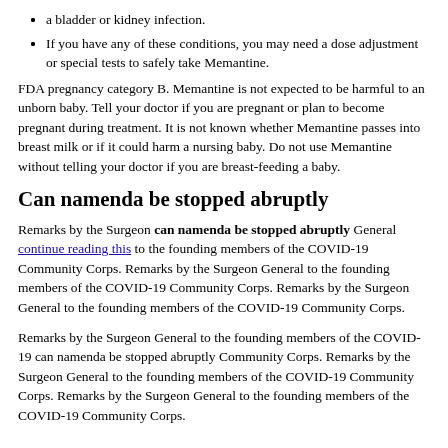a bladder or kidney infection.
If you have any of these conditions, you may need a dose adjustment or special tests to safely take Memantine.
FDA pregnancy category B. Memantine is not expected to be harmful to an unborn baby. Tell your doctor if you are pregnant or plan to become pregnant during treatment. It is not known whether Memantine passes into breast milk or if it could harm a nursing baby. Do not use Memantine without telling your doctor if you are breast-feeding a baby.
Can namenda be stopped abruptly
Remarks by the Surgeon can namenda be stopped abruptly General continue reading this to the founding members of the COVID-19 Community Corps. Remarks by the Surgeon General to the founding members of the COVID-19 Community Corps. Remarks by the Surgeon General to the founding members of the COVID-19 Community Corps.
Remarks by the Surgeon General to the founding members of the COVID-19 can namenda be stopped abruptly Community Corps. Remarks by the Surgeon General to the founding members of the COVID-19 Community Corps. Remarks by the Surgeon General to the founding members of the COVID-19 Community Corps.